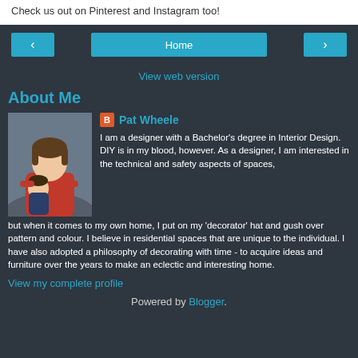Check us out on Pinterest and Instagram too!
Home
View web version
About Me
[Figure (photo): Profile photo of Pat Wheele - woman in red top holding a child]
Pat Wheele
I am a designer with a Bachelor's degree in Interior Design. DIY is in my blood, however. As a designer, I am interested in the technical and safety aspects of spaces, but when it comes to my own home, I put on my 'decorator' hat and gush over pattern and colour. I believe in residential spaces that are unique to the individual. I have also adopted a philosophy of decorating with time - to acquire ideas and furniture over the years to make an eclectic and interesting home.
View my complete profile
Powered by Blogger.